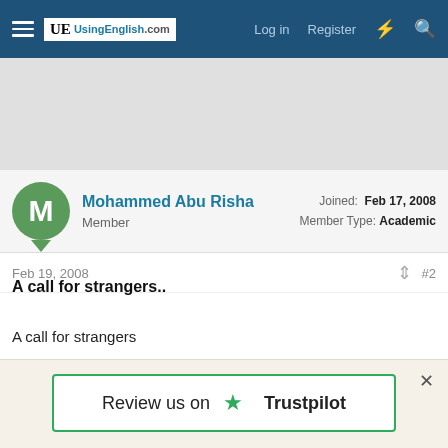UsingEnglish.com — Log in | Register
Mohammed Abu Risha
Member
Joined: Feb 17, 2008
Member Type: Academic
Feb 19, 2008   #2
A call for strangers..
A call for strangers
Mohammed Abu-Risha, 1994
Let us join despite the pain
Review us on Trustpilot